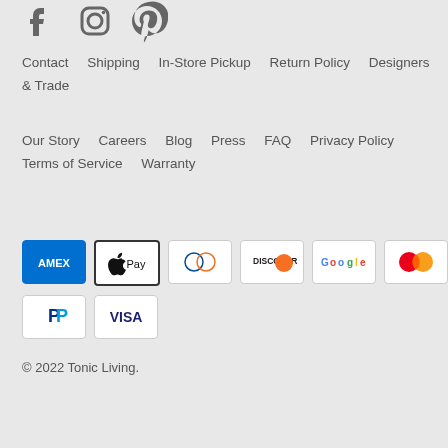[Figure (logo): Social media icons: Facebook, Instagram, Pinterest]
Contact   Shipping   In-Store Pickup   Return Policy   Designers & Trade
Our Story   Careers   Blog   Press   FAQ   Privacy Policy   Terms of Service   Warranty
[Figure (other): Payment method icons: AMEX, Apple Pay, Diners Club, Discover, Google Pay, Mastercard, PayPal, Visa]
© 2022 Tonic Living.